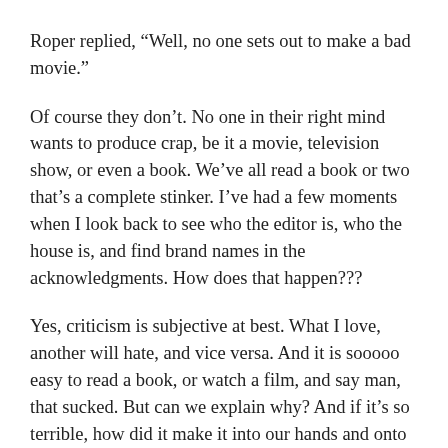Roper replied, "Well, no one sets out to make a bad movie."
Of course they don't. No one in their right mind wants to produce crap, be it a movie, television show, or even a book. We've all read a book or two that's a complete stinker. I've had a few moments when I look back to see who the editor is, who the house is, and find brand names in the acknowledgments. How does that happen???
Yes, criticism is subjective at best. What I love, another will hate, and vice versa. And it is sooooo easy to read a book, or watch a film, and say man, that sucked. But can we explain why? And if it's so terrible, how did it make it into our hands and onto our screens???
I need to limit this to discussing books, because I'm hopelessly lost when it comes to movie production. I'd love it if a few of our movie folks would chime in from that side of the fence.